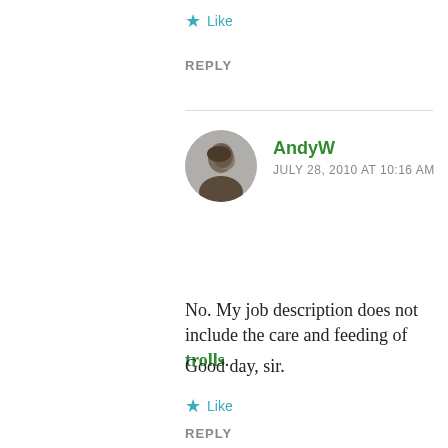★ Like
REPLY
[Figure (photo): Circular avatar photo of a man, side profile, dark hair]
AndyW
JULY 28, 2010 AT 10:16 AM
No. My job description does not include the care and feeding of trolls.
Good day, sir.
★ Like
REPLY